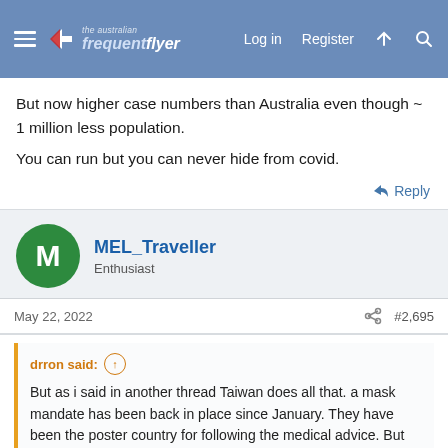the Australian Frequent Flyer — Log in | Register
But now higher case numbers than Australia even though ~ 1 million less population.
You can run but you can never hide from covid.
↩ Reply
MEL_Traveller
Enthusiast
May 22, 2022  #2,695
drron said: ⬆
But as i said in another thread Taiwan does all that. a mask mandate has been back in place since January. They have been the poster country for following the medical advice. But here is their graph.
View attachment 278110 .
And to get that straight line basically until the last 2 months they had far less lockdown than us. Schools closed for ~ 6 weeks and that